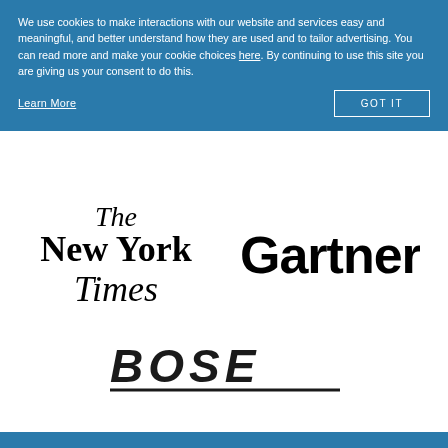We use cookies to make interactions with our website and services easy and meaningful, and better understand how they are used and to tailor advertising. You can read more and make your cookie choices here. By continuing to use this site you are giving us your consent to do this.
Learn More
GOT IT
[Figure (logo): The New York Times logo in blackletter/old English serif font]
[Figure (logo): Gartner logo in bold sans-serif font]
[Figure (logo): Bose logo in bold italic font with underline]